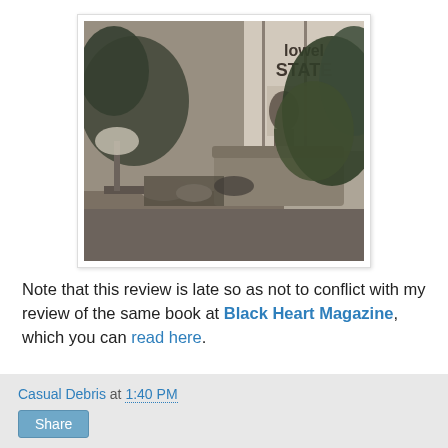[Figure (photo): Black and white photograph of an interior room or lobby, showing plant leaves in the foreground and background, a couch or bench, a desk lamp, and a window with text reading 'STATE' visible through it. Various objects on a table in the foreground.]
Note that this review is late so as not to conflict with my review of the same book at Black Heart Magazine, which you can read here.
Casual Debris at 1:40 PM  Share